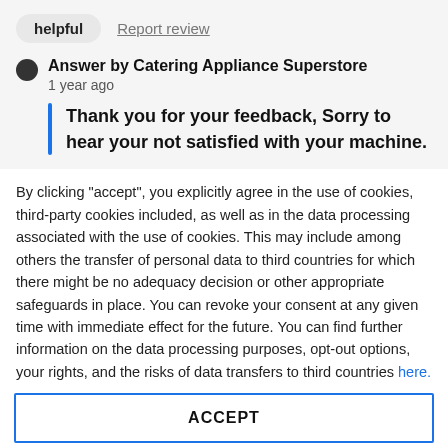helpful   Report review
Answer by Catering Appliance Superstore
1 year ago
Thank you for your feedback, Sorry to hear your not satisfied with your machine.
By clicking "accept", you explicitly agree in the use of cookies, third-party cookies included, as well as in the data processing associated with the use of cookies. This may include among others the transfer of personal data to third countries for which there might be no adequacy decision or other appropriate safeguards in place. You can revoke your consent at any given time with immediate effect for the future. You can find further information on the data processing purposes, opt-out options, your rights, and the risks of data transfers to third countries here.
ACCEPT